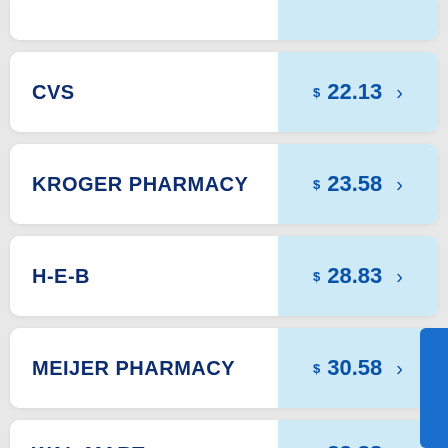CVS  $ 22.13
KROGER PHARMACY  $ 23.58
H-E-B  $ 28.83
MEIJER PHARMACY  $ 30.58
WAL-MART  $ 33.88